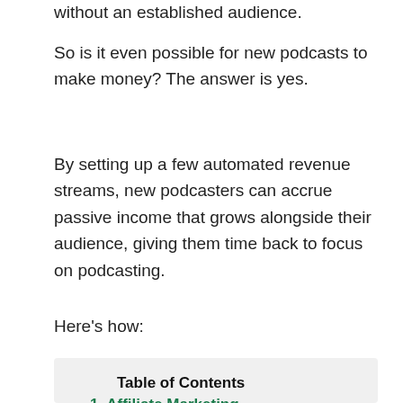without an established audience.
So is it even possible for new podcasts to make money? The answer is yes.
By setting up a few automated revenue streams, new podcasters can accrue passive income that grows alongside their audience, giving them time back to focus on podcasting.
Here's how:
Table of Contents
1. Affiliate Marketing